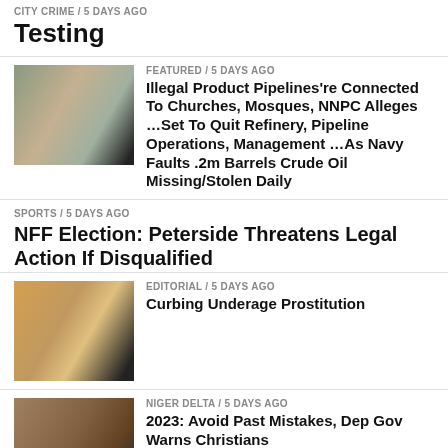CITY CRIME / 5 days ago
Testing
FEATURED / 5 days ago
Illegal Product Pipelines're Connected To Churches, Mosques, NNPC Alleges …Set To Quit Refinery, Pipeline Operations, Management …As Navy Faults .2m Barrels Crude Oil Missing/Stolen Daily
SPORTS / 5 days ago
NFF Election: Peterside Threatens Legal Action If Disqualified
EDITORIAL / 5 days ago
Curbing Underage Prostitution
NIGER DELTA / 5 days ago
2023: Avoid Past Mistakes, Dep Gov Warns Christians